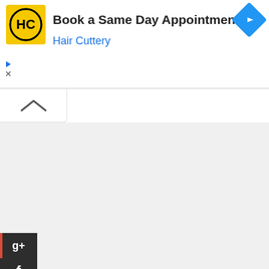[Figure (screenshot): Advertisement banner for Hair Cuttery with logo, 'Book a Same Day Appointment' text, and navigation arrow icon]
[Figure (screenshot): Expand/collapse chevron button UI element]
[Figure (screenshot): Social media sharing buttons column: Google+, Facebook, LinkedIn, Twitter, Stumbleupon-type icon, StumbleUpon]